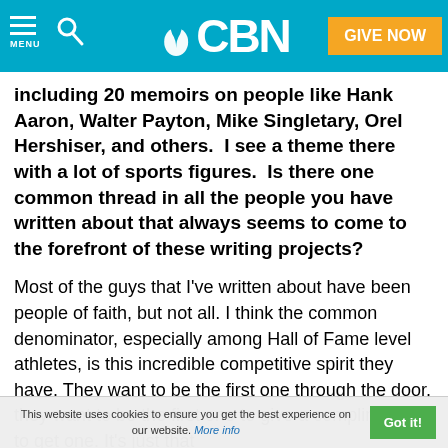CBN — MENU | Search | GIVE NOW
including 20 memoirs on people like Hank Aaron, Walter Payton, Mike Singletary, Orel Hershiser, and others.  I see a theme there with a lot of sports figures.  Is there one common thread in all the people you have written about that always seems to come to the forefront of these writing projects?
Most of the guys that I've written about have been people of faith, but not all. I think the common denominator, especially among Hall of Fame level athletes, is this incredible competitive spirit they have. They want to be the first one through the door, they want to be the first one to give a compliment or to get one. It's just that
This website uses cookies to ensure you get the best experience on our website. More info  Got it!